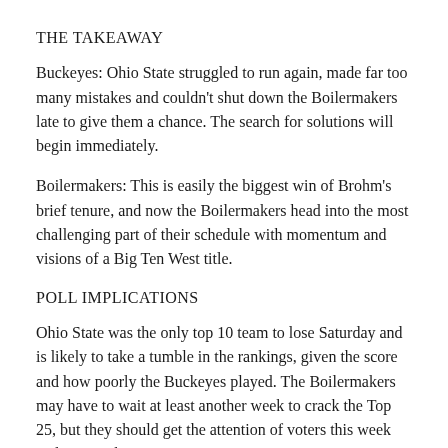THE TAKEAWAY
Buckeyes: Ohio State struggled to run again, made far too many mistakes and couldn’t shut down the Boilermakers late to give them a chance. The search for solutions will begin immediately.
Boilermakers: This is easily the biggest win of Brohm’s brief tenure, and now the Boilermakers head into the most challenging part of their schedule with momentum and visions of a Big Ten West title.
POLL IMPLICATIONS
Ohio State was the only top 10 team to lose Saturday and is likely to take a tumble in the rankings, given the score and how poorly the Buckeyes played. The Boilermakers may have to wait at least another week to crack the Top 25, but they should get the attention of voters this week and may pick up some votes.